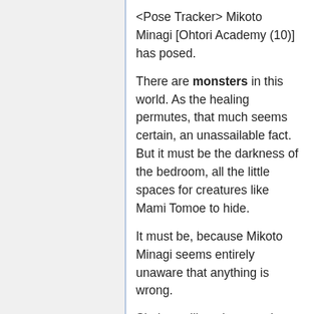<Pose Tracker> Mikoto Minagi [Ohtori Academy (10)] has posed.
There are monsters in this world. As the healing permutes, that much seems certain, an unassailable fact. But it must be the darkness of the bedroom, all the little spaces for creatures like Mami Tomoe to hide.
It must be, because Mikoto Minagi seems entirely unaware that anything is wrong.
She's not like other people, Eri says, and Mikoto lifts her right hand to trace down her friend's cheek. There's something to the words that makes her wonder, makes her worry, and it seems all the more important to say: "Eri's just the same to me."